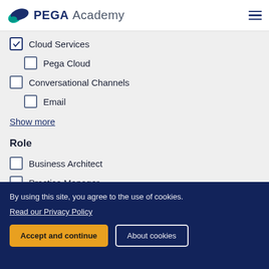PEGA Academy
Cloud Services (checked)
Pega Cloud (unchecked, indented)
Conversational Channels (unchecked)
Email (unchecked, indented)
Show more
Role
Business Architect (unchecked)
Practice Manager (unchecked)
Robotics System Architect (unchecked)
By using this site, you agree to the use of cookies. Read our Privacy Policy | Accept and continue | About cookies